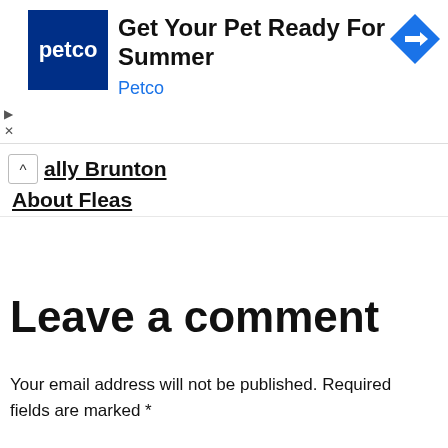[Figure (screenshot): Petco advertisement banner with Petco logo (white text on dark blue background), headline 'Get Your Pet Ready For Summer', brand name 'Petco' in blue, and a blue diamond navigation arrow icon on the right. Small play and close icons at bottom left.]
ally Brunton
About Fleas
Leave a comment
Your email address will not be published. Required fields are marked *